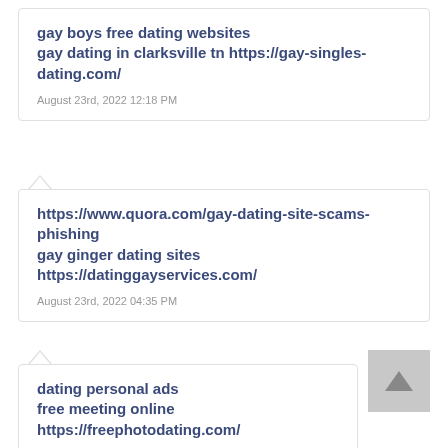gay boys free dating websites
gay dating in clarksville tn https://gay-singles-dating.com/
August 23rd, 2022 12:18 PM
https://www.quora.com/gay-dating-site-scams-phishing
gay ginger dating sites
https://datinggayservices.com/
August 23rd, 2022 04:35 PM
dating personal ads
free meeting online https://freephotodating.com/
August 24th, 2022 09:44 AM